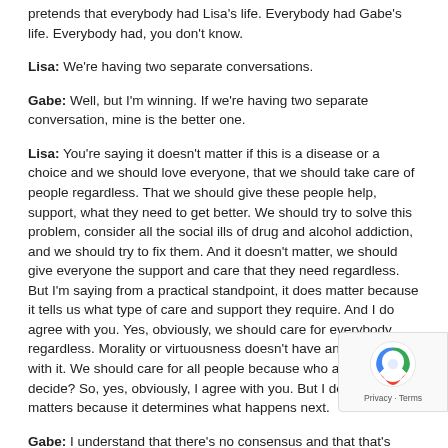pretends that everybody had Lisa's life. Everybody had Gabe's life. Everybody had, you don't know.
Lisa: We're having two separate conversations.
Gabe: Well, but I'm winning. If we're having two separate conversation, mine is the better one.
Lisa: You're saying it doesn't matter if this is a disease or a choice and we should love everyone, that we should take care of people regardless. That we should give these people help, support, what they need to get better. We should try to solve this problem, consider all the social ills of drug and alcohol addiction, and we should try to fix them. And it doesn't matter, we should give everyone the support and care that they need regardless. But I'm saying from a practical standpoint, it does matter because it tells us what type of care and support they require. And I do agree with you. Yes, obviously, we should care for everybody regardless. Morality or virtuousness doesn't have anything to do with it. We should care for all people because who are we to decide? So, yes, obviously, I agree with you. But I do think it matters because it determines what happens next.
Gabe: I understand that there's no consensus and that that's really a